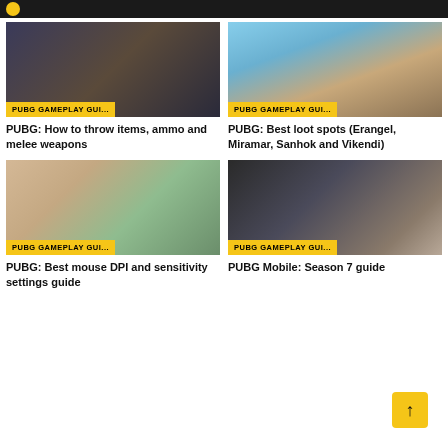[Figure (photo): PUBG character in dark tactical gear crouching near a vehicle]
PUBG GAMEPLAY GUI...
PUBG: How to throw items, ammo and melee weapons
[Figure (photo): Aerial view of Erangel or Miramar coastal landscape with crane]
PUBG GAMEPLAY GUI...
PUBG: Best loot spots (Erangel, Miramar, Sanhok and Vikendi)
[Figure (photo): PUBG desert map landscape with dry terrain, small building and utility poles]
PUBG GAMEPLAY GUI...
PUBG: Best mouse DPI and sensitivity settings guide
[Figure (photo): PUBG player in helmet and backpack standing in a gothic window interior]
PUBG GAMEPLAY GUI...
PUBG Mobile: Season 7 guide